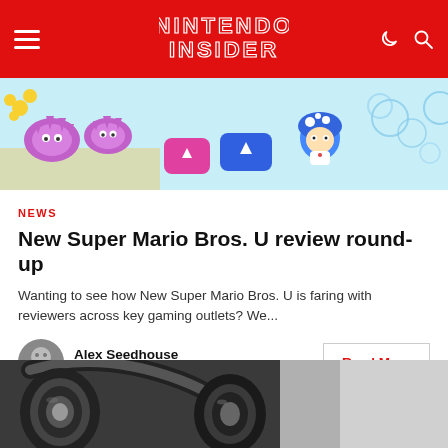NINTENDO INSIDER
[Figure (screenshot): Nintendo game screenshot banner showing colorful characters including spiked enemies, a blue Toad character, cards, and bubbles on a light blue background]
NEWS
New Super Mario Bros. U review round-up
Wanting to see how New Super Mario Bros. U is faring with reviewers across key gaming outlets? We...
Alex Seedhouse
November 16, 2012
Read More
[Figure (photo): Black and white close-up photograph of headphones]